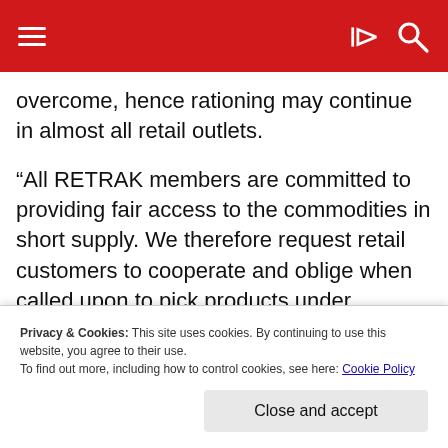≡  ) 🔍
overcome, hence rationing may continue in almost all retail outlets.
“All RETRAK members are committed to providing fair access to the commodities in short supply. We therefore request retail customers to cooperate and oblige when called upon to pick products under rationing treatment such as maize meal or sugar, in limited numbers,” read the statement in part.
Privacy & Cookies: This site uses cookies. By continuing to use this website, you agree to their use.
To find out more, including how to control cookies, see here: Cookie Policy
Close and accept